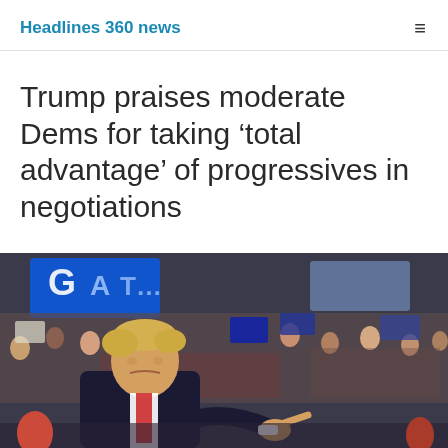Headlines 360 news
Trump praises moderate Dems for taking ‘total advantage’ of progressives in negotiations
[Figure (photo): Donald Trump pointing at a rally crowd, with supporters holding signs in the background and blue banners visible]